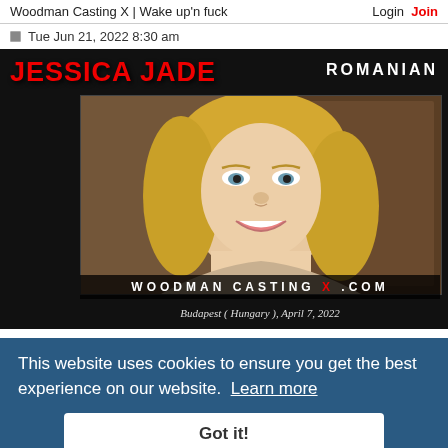Woodman Casting X | Wake up'n fuck   Login  Join
Tue Jun 21, 2022 8:30 am
[Figure (photo): Video thumbnail showing a blonde woman smiling, with JESSICA JADE in red text top-left, ROMANIAN in white top-right, WOODMAN CASTING X .COM watermark bar at bottom of image, and location text Budapest ( Hungary ), April 7, 2022]
This website uses cookies to ensure you get the best experience on our website. Learn more
Got it!
Spiderdog
Guru